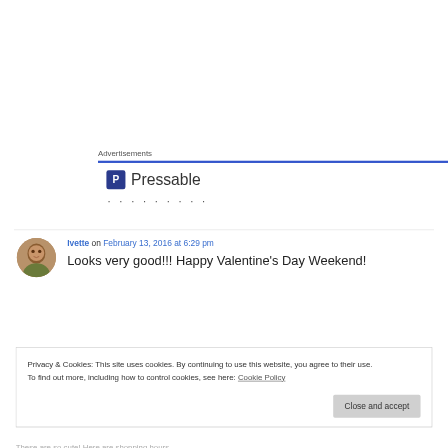Advertisements
[Figure (logo): Pressable logo with 'P' icon and text 'Pressable' followed by dots]
Ivette on February 13, 2016 at 6:29 pm
Looks very good!!! Happy Valentine's Day Weekend!
Privacy & Cookies: This site uses cookies. By continuing to use this website, you agree to their use.
To find out more, including how to control cookies, see here: Cookie Policy
Close and accept